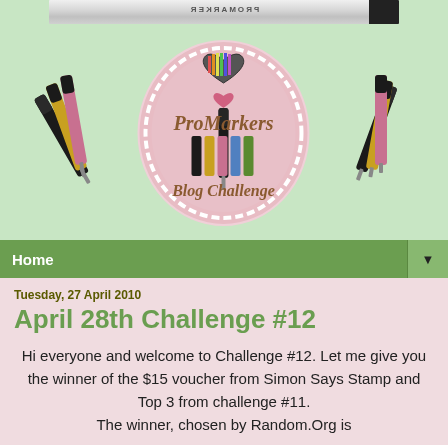[Figure (logo): ProMarkers Blog Challenge logo header with light green background, showing a pink oval badge with doily border, heart and colored markers motif, flanked by illustrations of ProMarker pens on left and right. A grey marker pen is visible at the very top.]
Home
Tuesday, 27 April 2010
April 28th Challenge #12
Hi everyone and welcome to Challenge #12. Let me give you the winner of the $15 voucher from Simon Says Stamp and Top 3 from challenge #11. The winner, chosen by Random.Org is